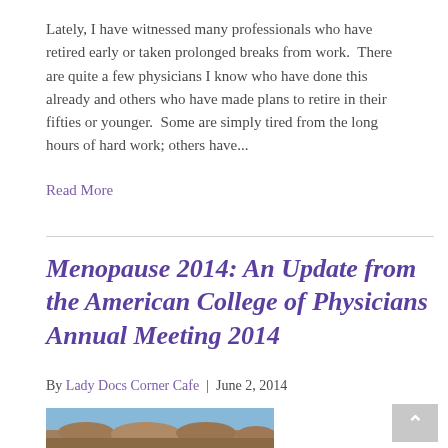Lately, I have witnessed many professionals who have retired early or taken prolonged breaks from work.  There are quite a few physicians I know who have done this already and others who have made plans to retire in their fifties or younger.  Some are simply tired from the long hours of hard work; others have...
Read More
Menopause 2014: An Update from the American College of Physicians Annual Meeting 2014
By Lady Docs Corner Cafe  |  June 2, 2014
[Figure (photo): Outdoor landscape photo showing rocky terrain and water under a blue sky]